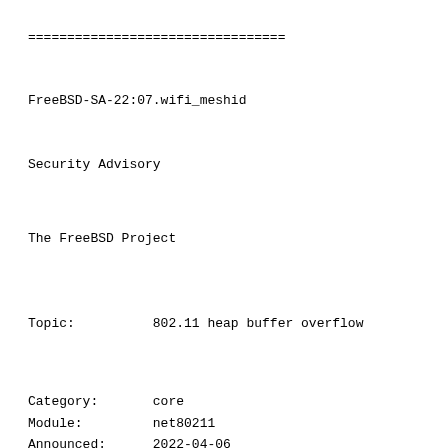=================================
FreeBSD-SA-22:07.wifi_meshid
Security Advisory
The FreeBSD Project
Topic:          802.11 heap buffer overflow
Category:       core
Module:         net80211
Announced:      2022-04-06
Credits:        m00nbsd working with Trend Micro Zero Day Initiative
Affects:        All supported versions of FreeBSD.
Corrected:      2022-04-05 22:59:53 UTC
(stable/13, 13.1-STABLE)
2022-04-06 01:56:58 UTC